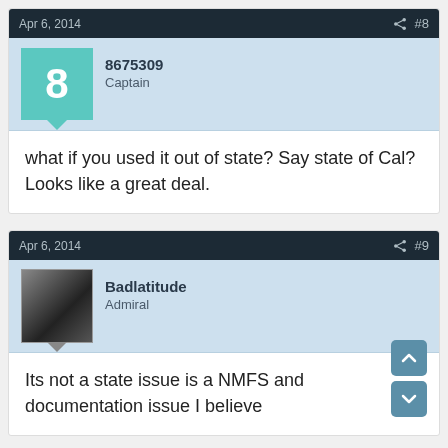Apr 6, 2014  #8
8675309
Captain
what if you used it out of state? Say state of Cal? Looks like a great deal.
Apr 6, 2014  #9
Badlatitude
Admiral
Its not a state issue is a NMFS and documentation issue I believe